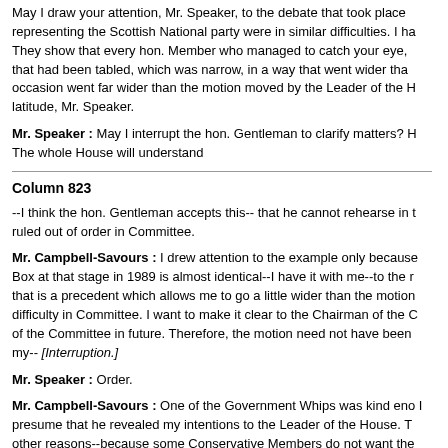May I draw your attention, Mr. Speaker, to the debate that took place representing the Scottish National party were in similar difficulties. I ha They show that every hon. Member who managed to catch your eye, that had been tabled, which was narrow, in a way that went wider tha occasion went far wider than the motion moved by the Leader of the H latitude, Mr. Speaker.
Mr. Speaker : May I interrupt the hon. Gentleman to clarify matters? H The whole House will understand
Column 823
--I think the hon. Gentleman accepts this-- that he cannot rehearse in ruled out of order in Committee.
Mr. Campbell-Savours : I drew attention to the example only because Box at that stage in 1989 is almost identical--I have it with me--to the r that is a precedent which allows me to go a little wider than the motion difficulty in Committee. I want to make it clear to the Chairman of the C of the Committee in future. Therefore, the motion need not have been my-- [Interruption.]
Mr. Speaker : Order.
Mr. Campbell-Savours : One of the Government Whips was kind eno I presume that he revealed my intentions to the Leader of the House. T other reasons--because some Conservative Members do not want the given an airing before the British public
Mr. Dennis Skinner (Bolsover) : Will my hon. Friend give way? [Hon. has referred to incidents in Committee this morning. In view of the fact